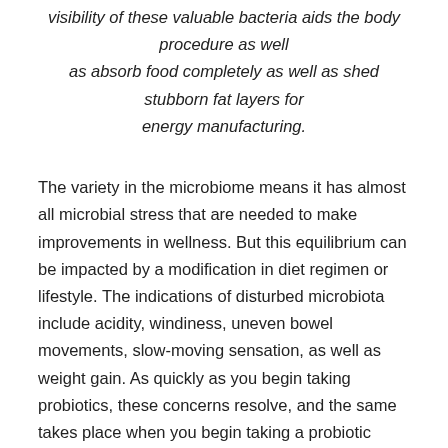visibility of these valuable bacteria aids the body procedure as well as absorb food completely as well as shed stubborn fat layers for energy manufacturing.
The variety in the microbiome means it has almost all microbial stress that are needed to make improvements in wellness. But this equilibrium can be impacted by a modification in diet regimen or lifestyle. The indications of disturbed microbiota include acidity, windiness, uneven bowel movements, slow-moving sensation, as well as weight gain. As quickly as you begin taking probiotics, these concerns resolve, and the same takes place when you begin taking a probiotic supplement.
From the details gathered, LeanBiome can conveniently be labelled as one of the leading probiotic supplements nowadays, and there are plenty of factors to trust this item. According to the official internet site, it controls brain as well as body control as well as controls the psychological as well as physical sides of weight